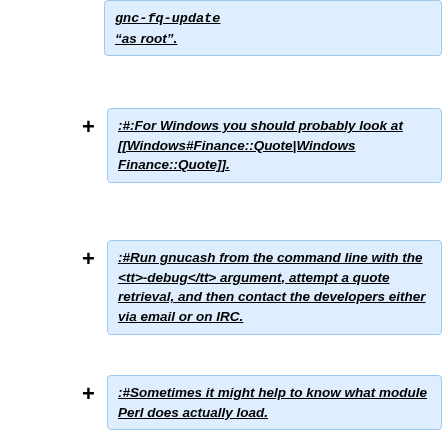<code>gnc-fq-update</code> "as root".
:#:For Windows you should probably look at [[Windows#Finance::Quote|Windows Finance::Quote]].
:#Run gnucash from the command line with the <tt>-debug</tt> argument, attempt a quote retrieval, and then contact the developers either via email or on IRC.
:#Sometimes it might help to know what module Perl does actually load.
:::This command will tell you exactly that for e.g. Tiaacref: